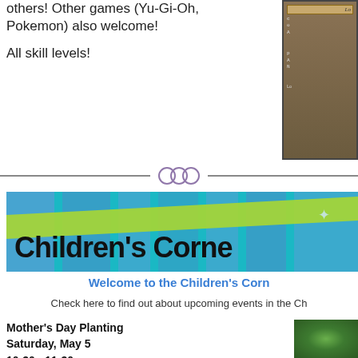others! Other games (Yu-Gi-Oh, Pokemon) also welcome!
All skill levels!
[Figure (photo): Trading card game card image, dark brown background]
[Figure (illustration): Decorative divider with three interlocking circles symbol between two horizontal lines]
[Figure (illustration): Children's Corner banner with teal background, blue stripes, green diagonal stripe, and decorative text]
Welcome to the Children's Corn
Check here to find out about upcoming events in the Ch
Mother's Day Planting
Saturday, May 5
10:30 - 11:30 am
[Figure (photo): Green plant/herb photo]